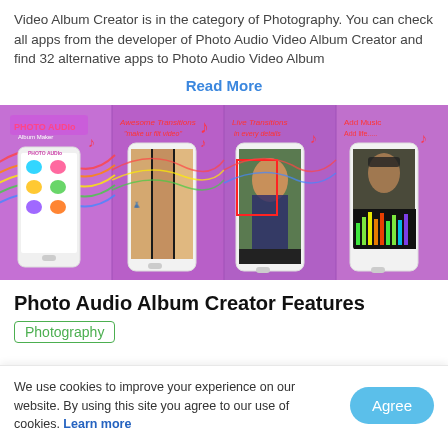Video Album Creator is in the category of Photography. You can check all apps from the developer of Photo Audio Video Album Creator and find 32 alternative apps to Photo Audio Video Album
Read More
[Figure (screenshot): Four app screenshots showing Photo Audio Album Creator interface: home screen with Photo Audio logo and feature icons, transition selection screen with three women, cropping/transition detail screen with woman portrait, and music visualizer screen with woman in hat.]
Photo Audio Album Creator Features
Photography
We use cookies to improve your experience on our website. By using this site you agree to our use of cookies. Learn more
Agree